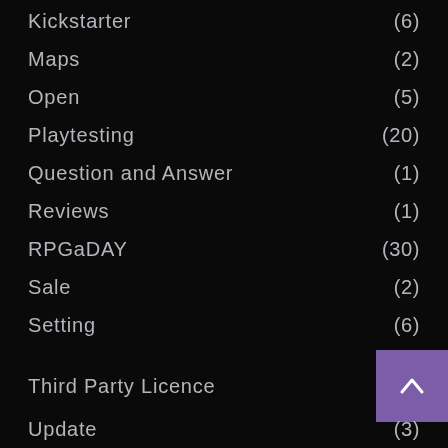Kickstarter (6)
Maps (2)
Open (5)
Playtesting (20)
Question and Answer (1)
Reviews (1)
RPGaDAY (30)
Sale (2)
Setting (6)
Third Party Licence
Update (3)